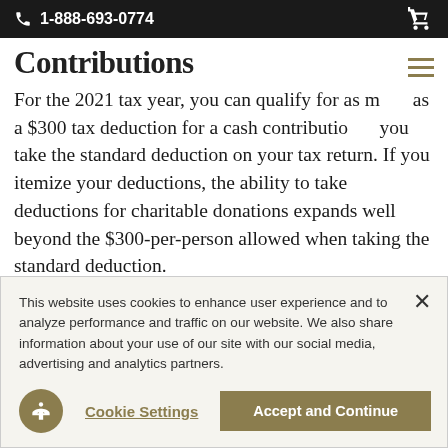1-888-693-0774
Contributions
For the 2021 tax year, you can qualify for as much as a $300 tax deduction for a cash contribution if you take the standard deduction on your tax return. If you itemize your deductions, the ability to take deductions for charitable donations expands well beyond the $300-per-person allowed when taking the standard deduction.
This website uses cookies to enhance user experience and to analyze performance and traffic on our website. We also share information about your use of our site with our social media, advertising and analytics partners.